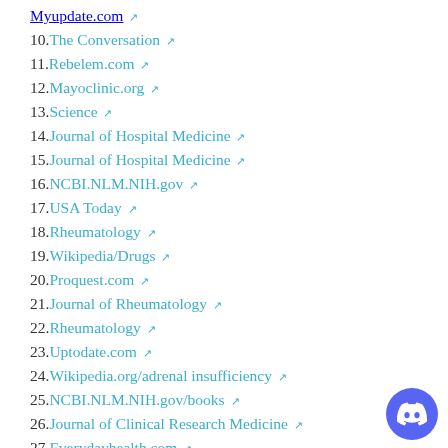10. The Conversation
11. Rebelem.com
12. Mayoclinic.org
13. Science
14. Journal of Hospital Medicine
15. Journal of Hospital Medicine
16. NCBI.NLM.NIH.gov
17. USA Today
18. Rheumatology
19. Wikipedia/Drugs
20. Proquest.com
21. Journal of Rheumatology
22. Rheumatology
23. Uptodate.com
24. Wikipedia.org/adrenal insufficiency
25. NCBI.NLM.NIH.gov/books
26. Journal of Clinical Research Medicine
27. Everydayhealth.com